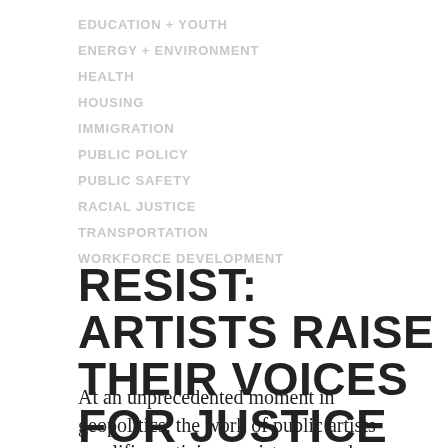EDUCATION + YOUTH
ENERGY + ENVIRONMENT
HEALTH
HOUSING
IMMIGRATION
PUBLIC POLICY
PUBLIC SAFETY
RACIAL JUSTICE
TRANSPORTATION
WORKFORCE DEVELOPMENT
RESIST: ARTISTS RAISE THEIR VOICES FOR JUSTICE
At an unprecedented moment in geopolitics, the work of public artists amplifies activism, resistance, and solidarity. Artists give context and vision to broad social movements, supporting